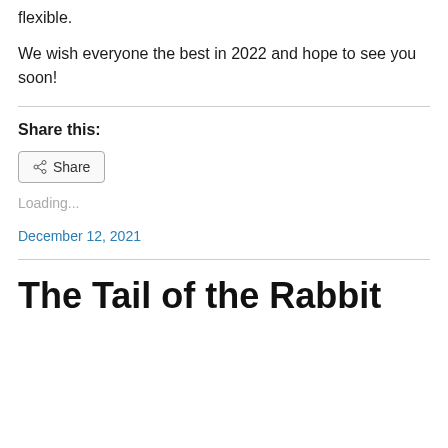flexible.
We wish everyone the best in 2022 and hope to see you soon!
Share this:
Loading...
December 12, 2021
The Tail of the Rabbit